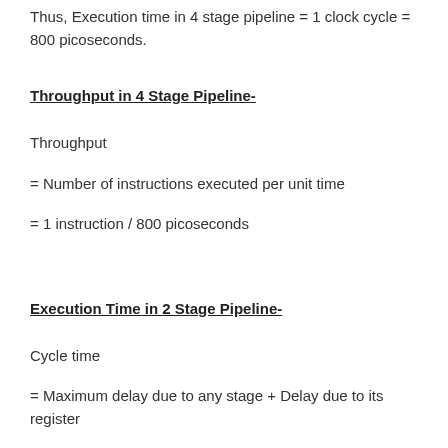Thus, Execution time in 4 stage pipeline = 1 clock cycle = 800 picoseconds.
Throughput in 4 Stage Pipeline-
Throughput
= Number of instructions executed per unit time
= 1 instruction / 800 picoseconds
Execution Time in 2 Stage Pipeline-
Cycle time
= Maximum delay due to any stage + Delay due to its register
= Max { 600, 350 } + 0